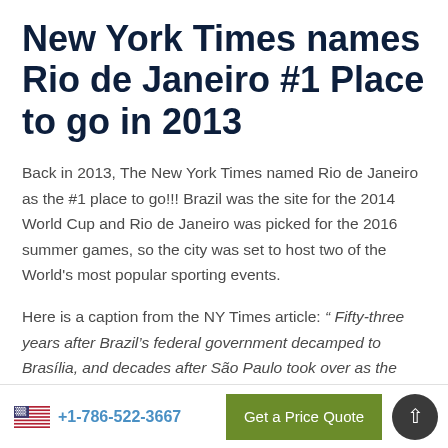New York Times names Rio de Janeiro #1 Place to go in 2013
Back in 2013, The New York Times named Rio de Janeiro as the #1 place to go!!! Brazil was the site for the 2014 World Cup and Rio de Janeiro was picked for the 2016 summer games, so the city was set to host two of the World's most popular sporting events.
Here is a caption from the NY Times article: “ Fifty-three years after Brazil’s federal government decamped to Brasília, and decades after São Paulo took over as the country’s business
+1-786-522-3667   Get a Price Quote